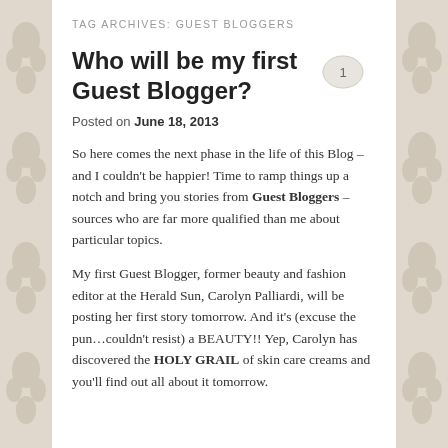TAG ARCHIVES: GUEST BLOGGERS
Who will be my first Guest Blogger?
Posted on June 18, 2013
So here comes the next phase in the life of this Blog – and I couldn't be happier! Time to ramp things up a notch and bring you stories from Guest Bloggers – sources who are far more qualified than me about particular topics.
My first Guest Blogger, former beauty and fashion editor at the Herald Sun, Carolyn Palliardi, will be posting her first story tomorrow. And it's (excuse the pun…couldn't resist) a BEAUTY!! Yep, Carolyn has discovered the HOLY GRAIL of skin care creams and you'll find out all about it tomorrow.